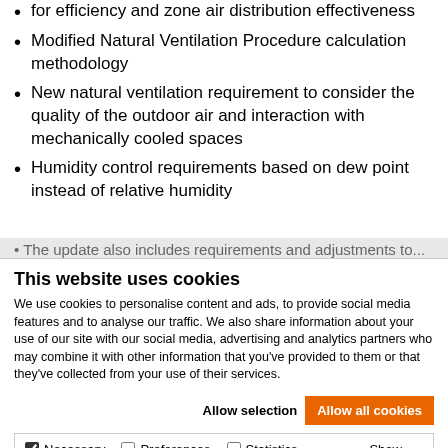for efficiency and zone air distribution effectiveness
Modified Natural Ventilation Procedure calculation methodology
New natural ventilation requirement to consider the quality of the outdoor air and interaction with mechanically cooled spaces
Humidity control requirements based on dew point instead of relative humidity
This website uses cookies
We use cookies to personalise content and ads, to provide social media features and to analyse our traffic. We also share information about your use of our site with our social media, advertising and analytics partners who may combine it with other information that you've provided to them or that they've collected from your use of their services.